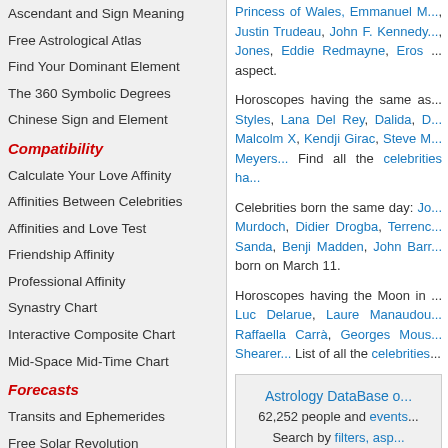Ascendant and Sign Meaning
Free Astrological Atlas
Find Your Dominant Element
The 360 Symbolic Degrees
Chinese Sign and Element
Compatibility
Calculate Your Love Affinity
Affinities Between Celebrities
Affinities and Love Test
Friendship Affinity
Professional Affinity
Synastry Chart
Interactive Composite Chart
Mid-Space Mid-Time Chart
Forecasts
Transits and Ephemerides
Free Solar Revolution
Secondary Directions
Princess of Wales, Emmanuel M..., Justin Trudeau, John F. Kennedy..., Jones, Eddie Redmayne, Eros ... aspect.
Horoscopes having the same as... Styles, Lana Del Rey, Dalida, D... Malcolm X, Kendji Girac, Steve M... Meyers... Find all the celebrities ha...
Celebrities born the same day: Jo... Murdoch, Didier Drogba, Terrenc... Sanda, Benji Madden, John Barr... born on March 11.
Horoscopes having the Moon in ... Luc Delarue, Laure Manaudou... Raffaella Carrà, Georges Mous... Shearer... List of all the celebrities...
Astrology DataBase o... 62,252 people and events... Search by filters, asp... Celebrities clicked...